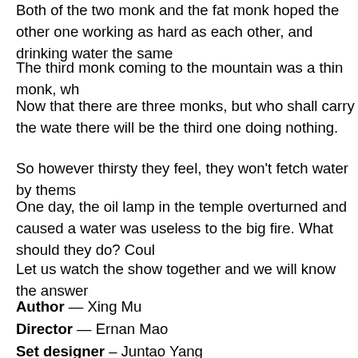Both of the two monk and the fat monk hoped the other one working as hard as each other, and drinking water the same
The third monk coming to the mountain was a thin monk, wh
Now that there are three monks, but who shall carry the wate there will be the third one doing nothing.
So however thirsty they feel, they won't fetch water by thems
One day, the oil lamp in the temple overturned and caused a water was useless to the big fire. What should they do? Coul
Let us watch the show together and we will know the answer
Author — Xing Mu
Director — Ernan Mao
Set designer – Juntao Yang
Light designer — Kunhao Fang
Costume designer — Ran Yu
Choreographer — Meichi Liu
Martial Art designer — Jingbo Hu
Composer — Junli Liu
Multimedia — Erwen Bao
Actors — Xiaoming Liu, Yue Tang, Jianlong He, Qiang Fa